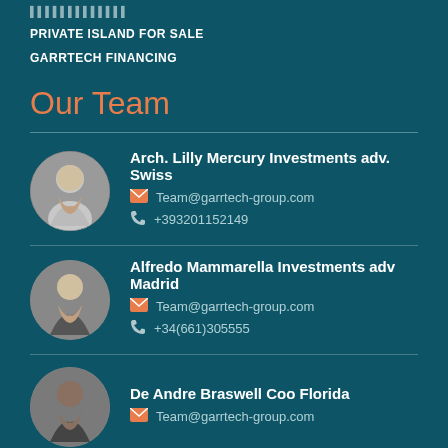PRIVATE ISLAND FOR SALE
GARRTECH FINANCING
Our Team
Arch. Lilly Mercury Investments adv. Swiss
Team@garrtech-group.com
+393201152149
Alfredo Mammarella Investments adv Madrid
Team@garrtech-group.com
+34(661)305555
De Andre Braswell Coo Florida
Team@garrtech-group.com